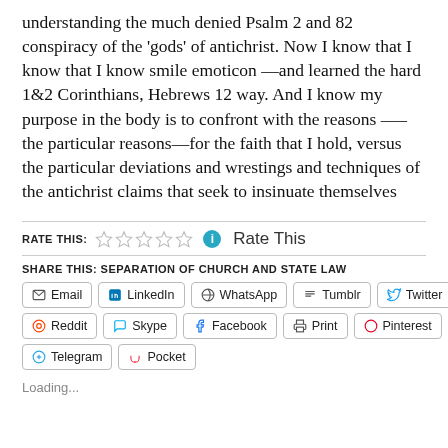understanding the much denied Psalm 2 and 82 conspiracy of the 'gods' of antichrist. Now I know that I know that I know smile emoticon —and learned the hard 1&2 Corinthians, Hebrews 12 way. And I know my purpose in the body is to confront with the reasons —–the particular reasons—for the faith that I hold, versus the particular deviations and wrestings and techniques of the antichrist claims that seek to insinuate themselves
RATE THIS: ☆☆☆☆☆ ℹ Rate This
SHARE THIS: SEPARATION OF CHURCH AND STATE LAW
Email  LinkedIn  WhatsApp  Tumblr  Twitter  Reddit  Skype  Facebook  Print  Pinterest  Telegram  Pocket
Loading...